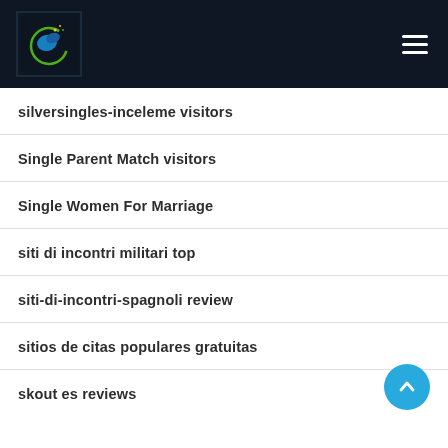silversingles-inceleme visitors
Single Parent Match visitors
Single Women For Marriage
siti di incontri militari top
siti-di-incontri-spagnoli review
sitios de citas populares gratuitas
skout es reviews